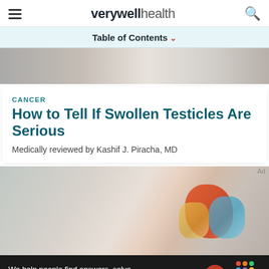verywell health
Table of Contents
[Figure (photo): Partial view of a doctor or person in a white coat, cropped at the top of the article card]
CANCER
How to Tell If Swollen Testicles Are Serious
Medically reviewed by Kashif J. Piracha, MD
[Figure (photo): A person in a white coat pointing to an anatomical model of the male reproductive system]
We help people find answers, solve problems and get inspired.
[Figure (logo): Dotdash Meredith logo with D circle and colorful dots]